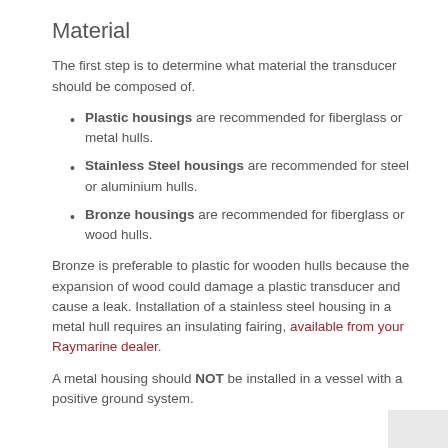Material
The first step is to determine what material the transducer should be composed of.
Plastic housings are recommended for fiberglass or metal hulls.
Stainless Steel housings are recommended for steel or aluminium hulls.
Bronze housings are recommended for fiberglass or wood hulls.
Bronze is preferable to plastic for wooden hulls because the expansion of wood could damage a plastic transducer and cause a leak. Installation of a stainless steel housing in a metal hull requires an insulating fairing, available from your Raymarine dealer.
A metal housing should NOT be installed in a vessel with a positive ground system.